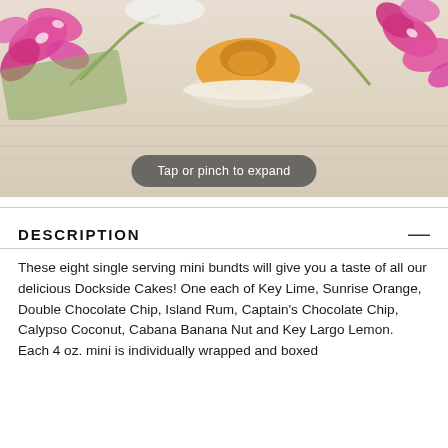[Figure (photo): Photo of mini bundt cakes on a plate with pink orchid flowers and green cloth on a wooden surface. A pill-shaped button overlay reads 'Tap or pinch to expand'.]
DESCRIPTION
These eight single serving mini bundts will give you a taste of all our delicious Dockside Cakes! One each of Key Lime, Sunrise Orange, Double Chocolate Chip, Island Rum, Captain's Chocolate Chip, Calypso Coconut, Cabana Banana Nut and Key Largo Lemon. Each 4 oz. mini is individually wrapped and boxed